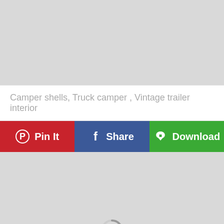[Figure (photo): Top image placeholder, light gray background]
Camper shells, Truck camper , Vintage trailer interior
[Figure (other): Row of three action buttons: Pin It (red), Share (blue), Download (green)]
[Figure (photo): Bottom image placeholder, light gray background with loading spinner]